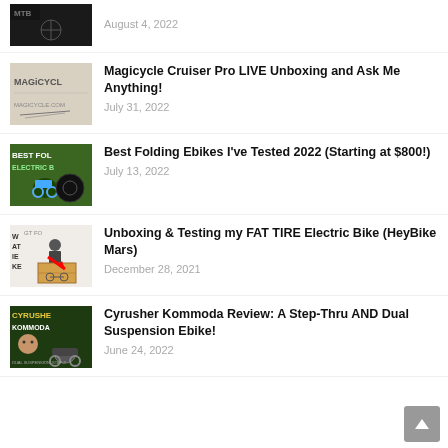August 4, 2022
Magicycle Cruiser Pro LIVE Unboxing and Ask Me Anything!
July 31, 2022
Best Folding Ebikes I've Tested 2022 (Starting at $800!)
July 13, 2022
Unboxing & Testing my FAT TIRE Electric Bike (HeyBike Mars)
December 28, 2021
Cyrusher Kommoda Review: A Step-Thru AND Dual Suspension Ebike!
June 24, 2022